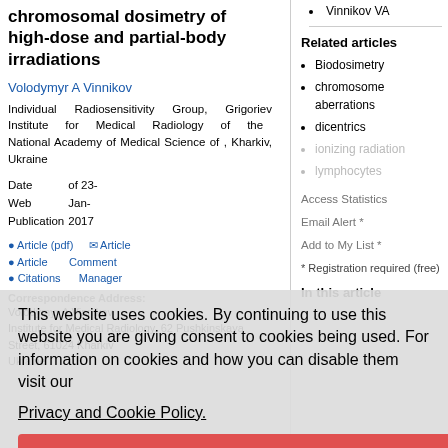chromosomal dosimetry of high-dose and partial-body irradiations
Volodymyr A Vinnikov
Individual Radiosensitivity Group, Grigoriev Institute for Medical Radiology of the National Academy of Medical Science of , Kharkiv, Ukraine
Date of Web Publication 23-Jan-2017
Vinnikov VA
Related articles
Biodosimetry
chromosome aberrations
dicentrics
ionizing radiation
lymphocytes
Access Statistics
Email Alert *
Add to My List *
* Registration required (free)
This website uses cookies. By continuing to use this website you are giving consent to cookies being used. For information on cookies and how you can disable them visit our
Privacy and Cookie Policy.
AGREE & PROCEED
Correspondence Address:
Volodymyr A Vinnikov
Institute for Medical Radiology, 62 Pushkinskaya Street, 61024 Kharkiv
Ukraine
In this article